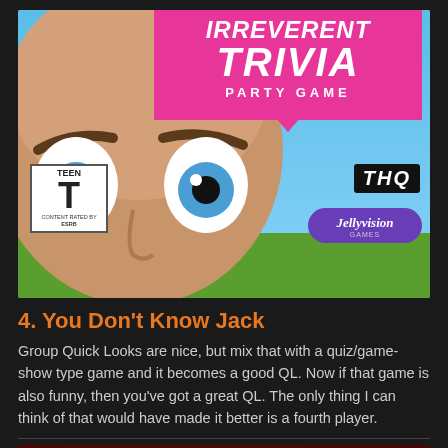[Figure (photo): Video game box art for 'Irreverent Trivia Party Game' by THQ and Jellyvision Games. Features a cartoon bald man with wide blue eyes looking up, on a blue and green background. Shows ESRB Teen rating, THQ logo in black, and Jellyvision Games purple logo. Pink speech-bubble shaped banner with 'IRREVERENT TRIVIA PARTY GAME' title.]
4. You Don't Know Jack
Group Quick Looks are nice, but mix that with a quiz/game-show type game and it becomes a good QL. Now if that game is also funny, then you've got a great QL. The only thing I can think of that would have made it better is a fourth player.
[Figure (photo): Partial view of another game's promotional banner with dark red background showing text: 'HE'S THE HUNGRIEST CREATURE ON EARTH AND TERROR IS ON THE MENU!!']